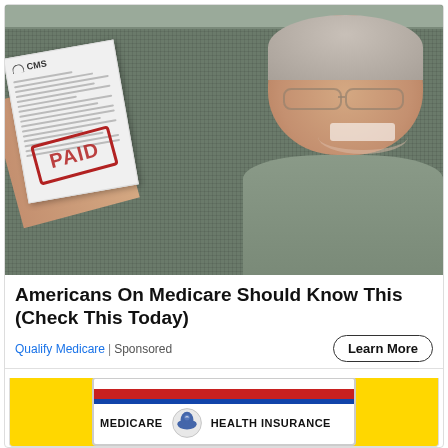[Figure (photo): Elderly smiling man holding up a CMS document with a red PAID stamp on it, seated in front of a screen/window]
Americans On Medicare Should Know This (Check This Today)
Qualify Medicare | Sponsored
[Figure (photo): Partial view of a Medicare Health Insurance card on a yellow background]